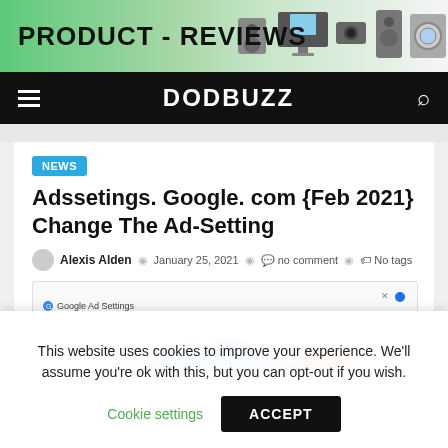[Figure (illustration): Product Reviews banner with green gradient background and electronics images (speakers, TV, appliances)]
DODBUZZ
NEWS
Adssetings. Google. com {Feb 2021} Change The Ad-Setting
Alexis Alden  January 25, 2021  no comment  No tags
[Figure (screenshot): Partial screenshot of Google Ad Settings page tab]
This website uses cookies to improve your experience. We'll assume you're ok with this, but you can opt-out if you wish.
Cookie settings   ACCEPT